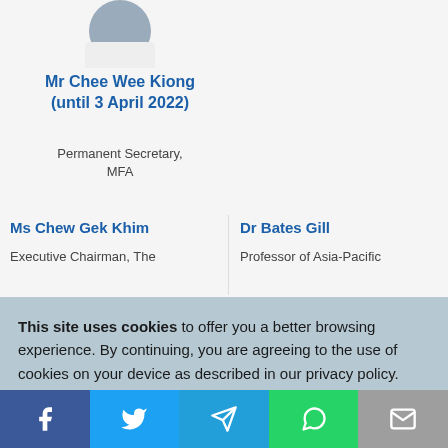[Figure (photo): Photo of Mr Chee Wee Kiong]
Mr Chee Wee Kiong (until 3 April 2022)
Permanent Secretary, MFA
Ms Chew Gek Khim
Executive Chairman, The
Dr Bates Gill
Professor of Asia-Pacific
This site uses cookies to offer you a better browsing experience. By continuing, you are agreeing to the use of cookies on your device as described in our privacy policy. Learn more
[Figure (screenshot): Social media share bar with Facebook, Twitter, Telegram, WhatsApp, and Email buttons]